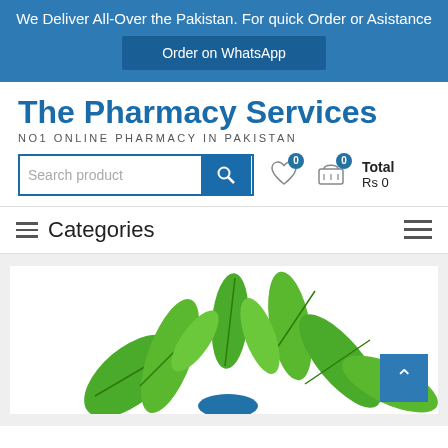We Deliver All-Over the Pakistan. For quick Order or Asistance
Order on WhatsApp
The Pharmacy Services
NO1 ONLINE PHARMACY IN PAKISTAN
Search product
Categories
[Figure (illustration): Green leaves illustration used as product/pharmacy decorative image]